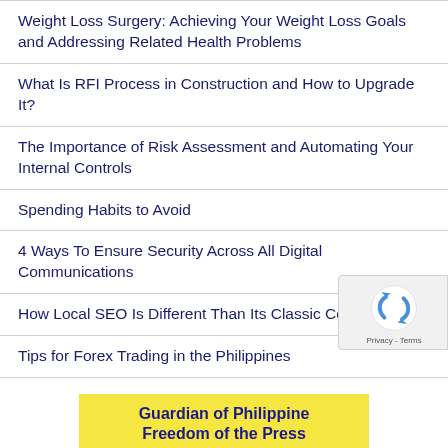Weight Loss Surgery: Achieving Your Weight Loss Goals and Addressing Related Health Problems
What Is RFI Process in Construction and How to Upgrade It?
The Importance of Risk Assessment and Automating Your Internal Controls
Spending Habits to Avoid
4 Ways To Ensure Security Across All Digital Communications
How Local SEO Is Different Than Its Classic Counterpart
Tips for Forex Trading in the Philippines
[Figure (logo): reCAPTCHA logo with Privacy and Terms text]
Guardian of Philippine Freedom of the Press